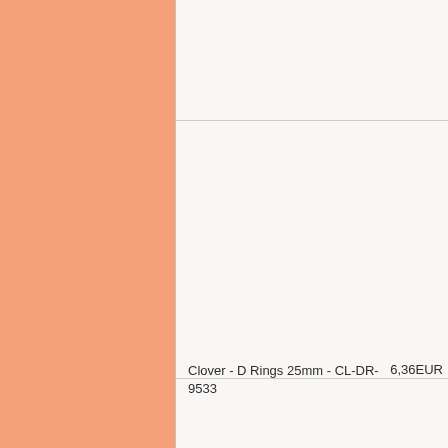| Product | Price |
| --- | --- |
| Clover - D Rings 25mm - CL-DR-9533 | 6,36EUR |
| Clover - E-Tablet and Paper Tablet Keepers 2 - CL-9577 | 22,75EUR |